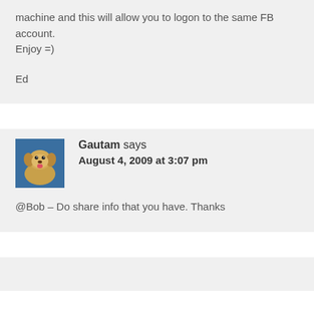machine and this will allow you to logon to the same FB account.
Enjoy =)
Ed
Gautam says
August 4, 2009 at 3:07 pm
@Bob – Do share info that you have. Thanks